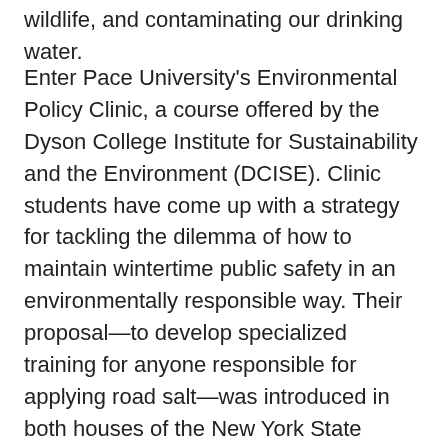wildlife, and contaminating our drinking water.
Enter Pace University's Environmental Policy Clinic, a course offered by the Dyson College Institute for Sustainability and the Environment (DCISE). Clinic students have come up with a strategy for tackling the dilemma of how to maintain wintertime public safety in an environmentally responsible way. Their proposal—to develop specialized training for anyone responsible for applying road salt—was introduced in both houses of the New York State Legislature earlier this year. If both bills pass and the governor signs the legislation, New York will become the first state to require the creation of such training, which would be offered voluntarily.